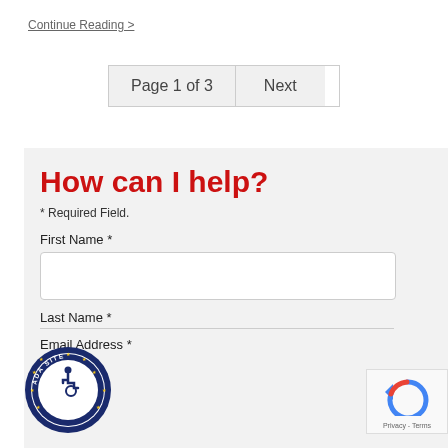Continue Reading >
Page 1 of 3   Next
How can I help?
* Required Field.
First Name *
Last Name *
Email Address *
[Figure (logo): ADA Site Compliance badge - circular seal with wheelchair accessibility icon and text 'ADA SITE COMPLIANCE' around the border]
[Figure (logo): Google reCAPTCHA widget with circular arrow icon and 'Privacy - Terms' text below]